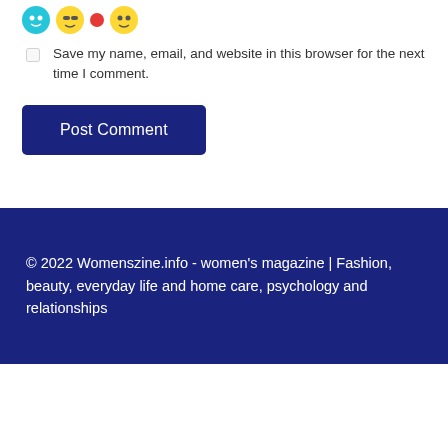[Figure (illustration): Row of small circular avatar icons (emoji-style faces in teal, yellow/sunglasses, pink/red, yellow)]
Save my name, email, and website in this browser for the next time I comment.
Post Comment
© 2022 Womenszine.info - women's magazine | Fashion, beauty, everyday life and home care, psychology and relationships